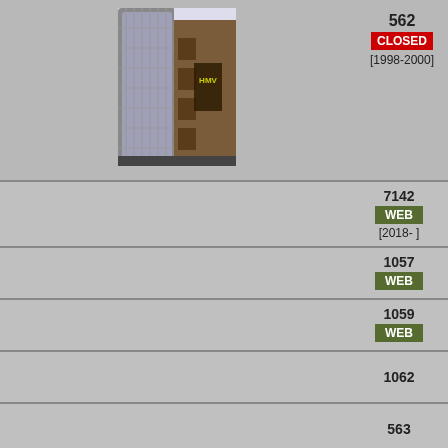[Figure (photo): Street view photo of a building with glass cylindrical facade and adjacent brown brick building with signage, taken from below looking up.]
562
CLOSED
[1998-2000]
7142
WEB
[2018- ]
1057
WEB
1059
WEB
1062
563
Dún Laoghaire, Ireland   Dublin County
1053